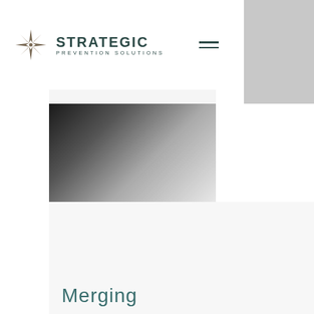Strategic Prevention Solutions — navigation header with logo and hamburger menu
[Figure (photo): Hero image showing a gradient photo transitioning from dark (bottom-left) to light (top-right), partially visible behind navigation overlay]
Merging